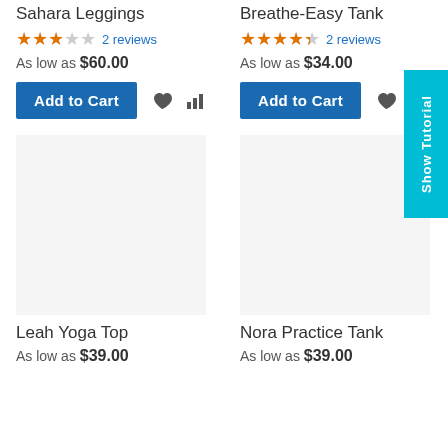Sahara Leggings
2 reviews
As low as $60.00
Add to Cart
Breathe-Easy Tank
2 reviews
As low as $34.00
Add to Cart
[Figure (screenshot): Show Tutorial vertical cyan tab on right side]
Leah Yoga Top
As low as $39.00
Nora Practice Tank
As low as $39.00